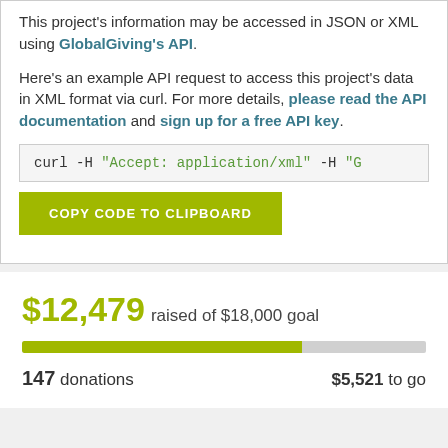This project's information may be accessed in JSON or XML using GlobalGiving's API.
Here's an example API request to access this project's data in XML format via curl. For more details, please read the API documentation and sign up for a free API key.
curl -H "Accept: application/xml" -H "G
COPY CODE TO CLIPBOARD
$12,479 raised of $18,000 goal
147 donations
$5,521 to go